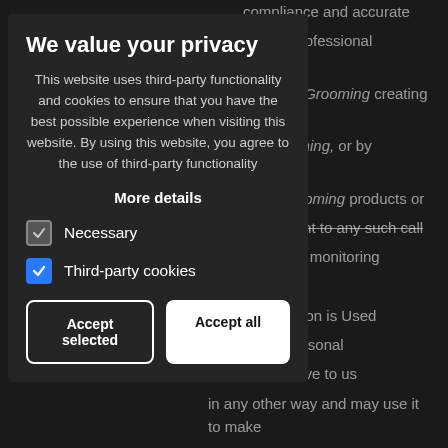Background website text about compliance and accurate delivery in a professional manner. Apply Tails Grooming creating on Apply Tails Grooming, or by otherwise Apply Tails Grooming products or services hereby consent to any such call for monitoring information is Used Our Use Website are any personal information you enter on our Websites or give to us in any other way and may use it to make them designed by and access to employment
We value your privacy
This website uses third-party functionality and cookies to ensure that you have the best possible experience when visiting this website. By using this website, you agree to the use of third-party functionality
More details
Necessary
Third-party cookies
Accept selected
Accept all